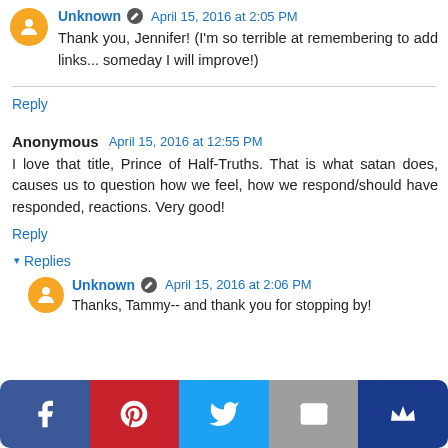Unknown · April 15, 2016 at 2:05 PM
Thank you, Jennifer! (I'm so terrible at remembering to add links... someday I will improve!)
Reply
Anonymous  April 15, 2016 at 12:55 PM
I love that title, Prince of Half-Truths. That is what satan does, causes us to question how we feel, how we respond/should have responded, reactions. Very good!
Reply
▾ Replies
Unknown · April 15, 2016 at 2:06 PM
Thanks, Tammy-- and thank you for stopping by!
[Figure (infographic): Social share bar with Facebook, Pinterest, Twitter, email, and crown icon buttons]